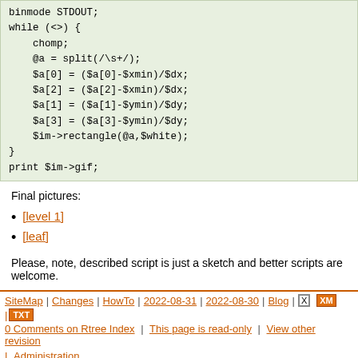binmode STDOUT;
while (<>) {
    chomp;
    @a = split(/\s+/);
    $a[0] = ($a[0]-$xmin)/$dx;
    $a[2] = ($a[2]-$xmin)/$dx;
    $a[1] = ($a[1]-$ymin)/$dy;
    $a[3] = ($a[3]-$ymin)/$dy;
    $im->rectangle(@a,$white);
}
print $im->gif;
Final pictures:
[level 1]
[leaf]
Please, note, described script is just a sketch and better scripts are welcome.
SiteMap | Changes | HowTo | 2022-08-31 | 2022-08-30 | Blog | X | XML | TXT
0 Comments on Rtree Index | This page is read-only | View other revisions | Administration
Last edited 2005-06-23 12:48 UTC by megera (diff)
Search: [input] Go!
©Zen,